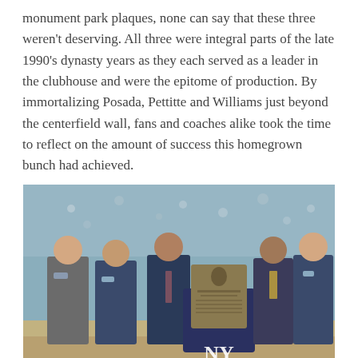monument park plaques, none can say that these three weren't deserving. All three were integral parts of the late 1990's dynasty years as they each served as a leader in the clubhouse and were the epitome of production. By immortalizing Posada, Pettitte and Williams just beyond the centerfield wall, fans and coaches alike took the time to reflect on the amount of success this homegrown bunch had achieved.
[Figure (photo): Five men in suits posing together at a baseball stadium, with a Yankees monument park plaque on a stand in the center. The New York Yankees NY logo is visible on the stand.]
10) The Yankees score 21 runs against the Rangers
This game was truly something incredible. The Yanks were